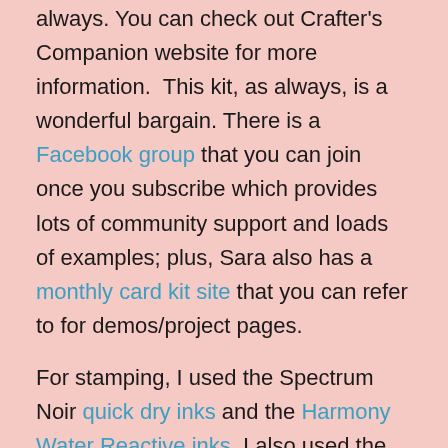always. You can check out Crafter's Companion website for more information. This kit, as always, is a wonderful bargain. There is a Facebook group that you can join once you subscribe which provides lots of community support and loads of examples; plus, Sara also has a monthly card kit site that you can refer to for demos/project pages.
For stamping, I used the Spectrum Noir quick dry inks and the Harmony Water Reactive inks. I also used the Spectrum Noir Tri-blend markers for all of my coloring. I find they are easy to use and blend colors without having to put much thought into it. CC has an amazing range of coloring products that even a novice can use